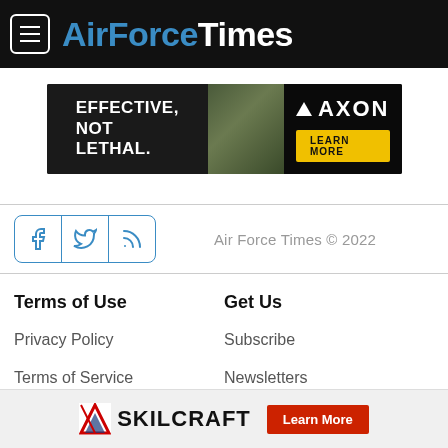AirForceTimes
[Figure (infographic): AXON advertisement banner: 'EFFECTIVE. NOT LETHAL.' with soldier image and Learn More button]
Air Force Times © 2022
Terms of Use
Privacy Policy
Terms of Service
Get Us
Subscribe
Newsletters
RSS Feeds
[Figure (infographic): Skilcraft advertisement banner with logo and Learn More button]